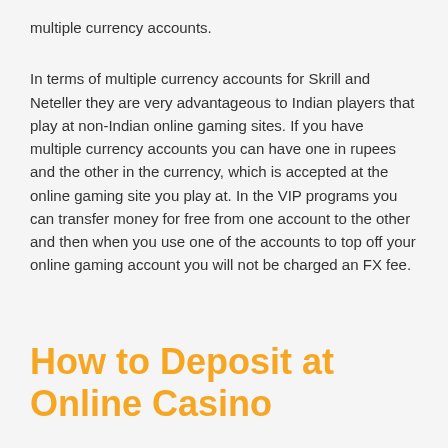multiple currency accounts.
In terms of multiple currency accounts for Skrill and Neteller they are very advantageous to Indian players that play at non-Indian online gaming sites. If you have multiple currency accounts you can have one in rupees and the other in the currency, which is accepted at the online gaming site you play at. In the VIP programs you can transfer money for free from one account to the other and then when you use one of the accounts to top off your online gaming account you will not be charged an FX fee.
How to Deposit at Online Casino
It is very easy to deposit at an online casino, or sportsbook, or